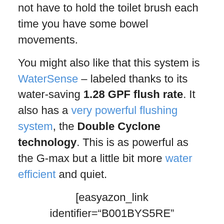not have to hold the toilet brush each time you have some bowel movements.
You might also like that this system is WaterSense – labeled thanks to its water-saving 1.28 GPF flush rate. It also has a very powerful flushing system, the Double Cyclone technology. This is as powerful as the G-max but a little bit more water efficient and quiet.
[easyazon_link identifier="B001BYS5RE" locale="US" tag="toptoilets-20"]Check Price At Amazon[/easyazon_link]
2. Toto CST454CEFG#01 Drake II – Premium Pick
High